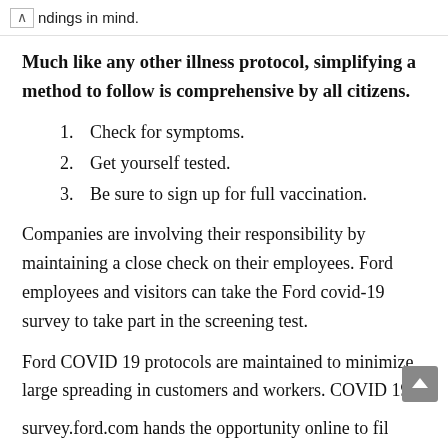ndings in mind.
Much like any other illness protocol, simplifying a method to follow is comprehensive by all citizens.
1. Check for symptoms.
2. Get yourself tested.
3. Be sure to sign up for full vaccination.
Companies are involving their responsibility by maintaining a close check on their employees. Ford employees and visitors can take the Ford covid-19 survey to take part in the screening test.
Ford COVID 19 protocols are maintained to minimize large spreading in customers and workers. COVID 19 survey.ford.com hands the opportunity online to fill and